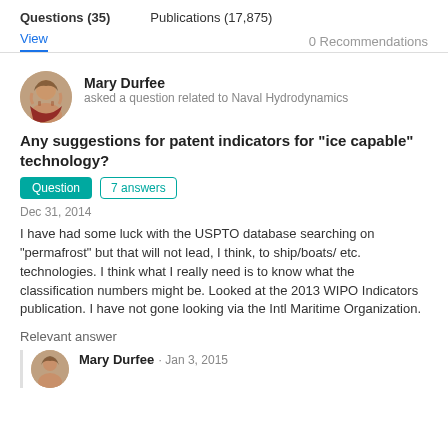Questions (35)    Publications (17,875)
View    0 Recommendations
Mary Durfee
asked a question related to Naval Hydrodynamics
Any suggestions for patent indicators for "ice capable" technology?
Question   7 answers
Dec 31, 2014
I have had some luck with the USPTO database searching on "permafrost" but that will not lead, I think, to ship/boats/ etc. technologies.  I think what I really need is to know what the classification numbers might be.  Looked at the 2013 WIPO Indicators publication. I have not gone looking via the Intl Maritime Organization.
Relevant answer
Mary Durfee · Jan 3, 2015